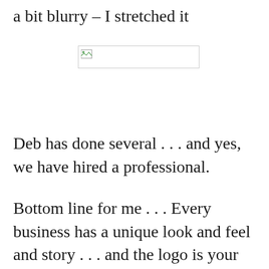a bit blurry – I stretched it
[Figure (other): Broken image placeholder with small icon in top-left corner]
Deb has done several . . . and yes, we have hired a professional.
Bottom line for me . . . Every business has a unique look and feel and story . . . and the logo is your first opportunity to tell that story.
This is ONE thing that merits doing RIGHT